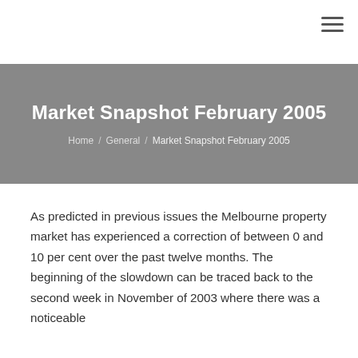☰ (hamburger menu icon)
Market Snapshot February 2005
Home / General / Market Snapshot February 2005
As predicted in previous issues the Melbourne property market has experienced a correction of between 0 and 10 per cent over the past twelve months. The beginning of the slowdown can be traced back to the second week in November of 2003 where there was a noticeable